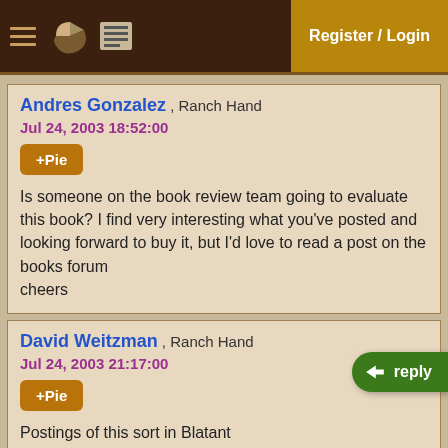Register / Login
Andres Gonzalez , Ranch Hand
Jul 24, 2003 18:52:00
+Pie
Is someone on the book review team going to evaluate this book? I find very interesting what you've posted and looking forward to buy it, but I'd love to read a post on the books forum
cheers
David Weitzman , Ranch Hand
Jul 24, 2003 21:17:00
+Pie
Postings of this sort in Blatant Advertising sign that the book will be the subject of a book promotion. Check out this page to see when the AspectJ